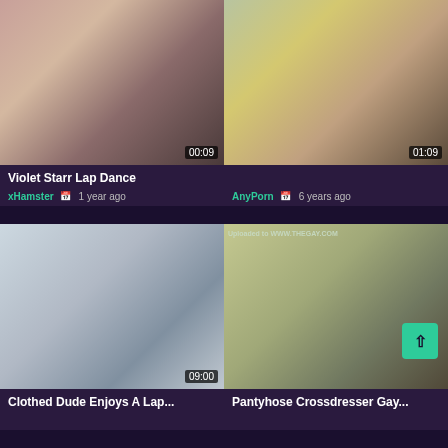[Figure (screenshot): Video thumbnail 1 - Violet Starr Lap Dance, timestamp 00:09]
Violet Starr Lap Dance
xHamster  1 year ago
[Figure (screenshot): Video thumbnail 2 - AnyPorn, timestamp 01:09, 6 years ago]
AnyPorn  6 years ago
[Figure (screenshot): Video thumbnail 3 - Clothed Dude Enjoys..., timestamp 09:00]
Clothed Dude Enjoys A Lap...
[Figure (screenshot): Video thumbnail 4 - Pantyhose Crossdresser Gay, watermark WWW.THEGAY.COM]